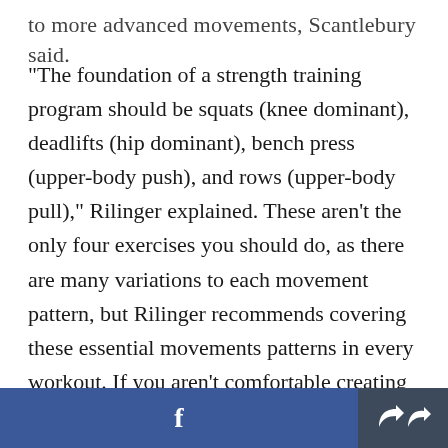to more advanced movements, Scantlebury said.
"The foundation of a strength training program should be squats (knee dominant), deadlifts (hip dominant), bench press (upper-body push), and rows (upper-body pull)," Rilinger explained. These aren't the only four exercises you should do, as there are many variations to each movement pattern, but Rilinger recommends covering these essential movements patterns in every workout. If you aren't comfortable creating your own training program or if you'd like to discuss your goals and
f  [share icon]